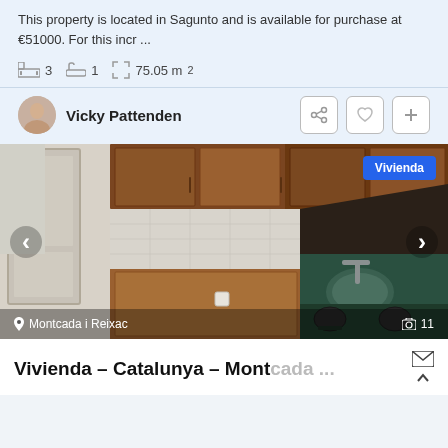This property is located in Sagunto and is available for purchase at €51000. For this incr ...
3  1  75.05 m²
Vicky Pattenden
[Figure (photo): Kitchen interior photo showing wooden cabinets, dark countertop with sink, and stovetop. Location label 'Montcada i Reixac' visible at bottom left, photo count '11' at bottom right. 'Vivienda' badge in top right corner.]
Vivienda – Catalunya – Montcada ...